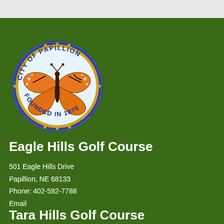[Figure (logo): City of Papillion seal — circular seal with a monarch butterfly in the center, 'CITY OF PAPILLION' on top arc, 'FOUNDED IN 1870' on bottom arc, blue border with gold dots]
Eagle Hills Golf Course
501 Eagle Hills Drive
Papillion, NE 68133
Phone: 402-592-7788
Email
Tara Hills Golf Course